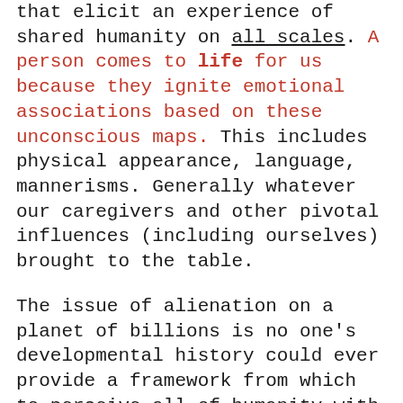that elicit an experience of shared humanity on all scales. A person comes to life for us because they ignite emotional associations based on these unconscious maps. This includes physical appearance, language, mannerisms. Generally whatever our caregivers and other pivotal influences (including ourselves) brought to the table.

The issue of alienation on a planet of billions is no one's developmental history could ever provide a framework from which to perceive all of humanity with emotion. Many of us fight to do so by drawing on the universality